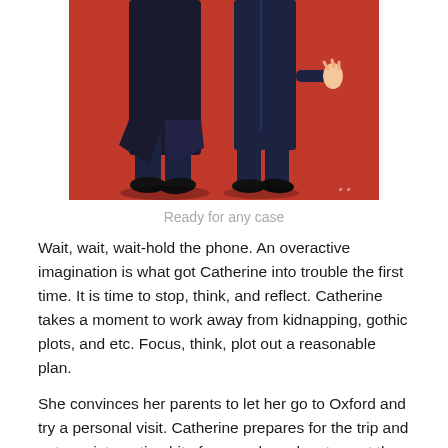[Figure (illustration): Illustration on red background showing two figures in dark coats/suits, viewed from roughly the torso down, standing side by side. An artist signature is visible in the lower right of the image.]
Ready for any case
Wait, wait, wait-hold the phone. An overactive imagination is what got Catherine into trouble the first time. It is time to stop, think, and reflect. Catherine takes a moment to work away from kidnapping, gothic plots, and etc. Focus, think, plot out a reasonable plan.
She convinces her parents to let her go to Oxford and try a personal visit. Catherine prepares for the trip and gets an interesting bit of news when she stops at the store to pick up her father's paper order and she is told that a stranger is asking questions about her brother. Catherine has a